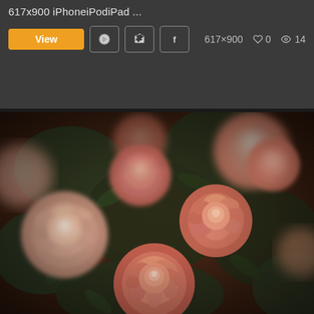617x900 iPhoneiPodiPad ...
View | Pinterest | Facebook | 617×900 | ♡ 0 | 👁 14
[Figure (photo): Close-up photograph of pink and coral roses with dark green foliage, vintage warm-toned style]